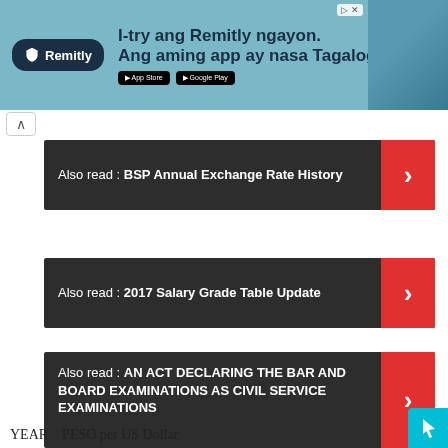[Figure (photo): Remitly advertisement banner in Tagalog — 'I-try ang Remitly ngayon. Ang aming app ay nasa Tagalog.' with App Store and Google Play buttons, Remitly logo, and photo of two smiling people.]
Also read : BSP Annual Exchange Rate History
Also read : 2017 Salary Grade Table Update
Also read : AN ACT DECLARING THE BAR AND BOARD EXAMINATIONS AS CIVIL SERVICE EXAMINATIONS
YEAR  PESO per US Dollar